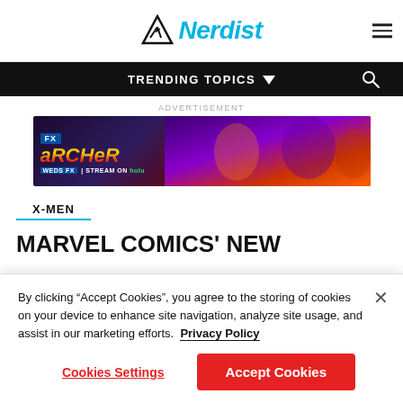Nerdist
TRENDING TOPICS
ADVERTISEMENT
[Figure (photo): Advertisement banner for FX's Archer - WEDS FX | Stream on Hulu]
X-MEN
MARVEL COMICS' NEW
By clicking “Accept Cookies”, you agree to the storing of cookies on your device to enhance site navigation, analyze site usage, and assist in our marketing efforts.  Privacy Policy